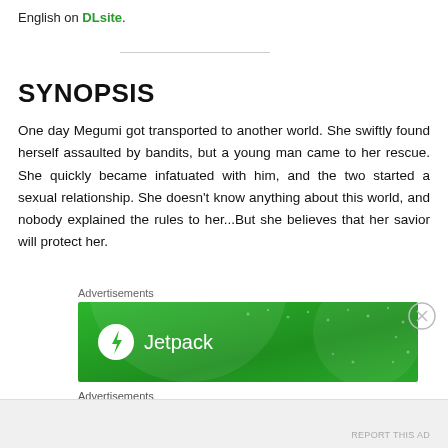English on DLsite.
SYNOPSIS
One day Megumi got transported to another world. She swiftly found herself assaulted by bandits, but a young man came to her rescue. She quickly became infatuated with him, and the two started a sexual relationship. She doesn't know anything about this world, and nobody explained the rules to her...But she believes that her savior will protect her.
Advertisements
[Figure (other): Jetpack advertisement banner with green gradient background and Jetpack logo]
Advertisements